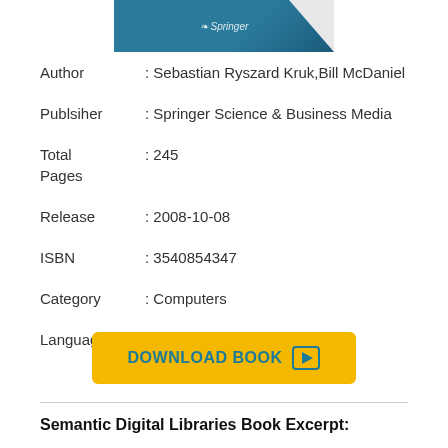[Figure (illustration): Springer book cover partial view, teal/blue colored]
Author : Sebastian Ryszard Kruk,Bill McDaniel
Publsiher : Springer Science & Business Media
Total Pages : 245
Release : 2008-10-08
ISBN : 3540854347
Category : Computers
Language : EN, FR, DE, ES & NL
[Figure (other): Yellow download button with text DOWNLOAD BOOK and a play icon]
Semantic Digital Libraries Book Excerpt: